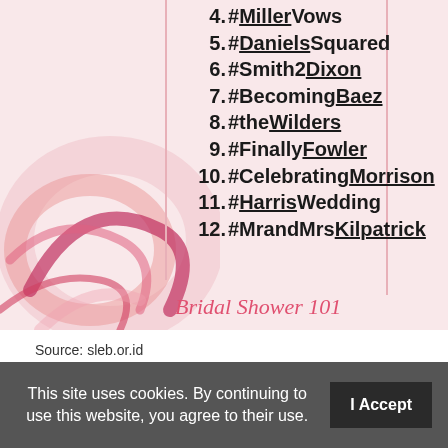[Figure (illustration): Pink floral decorative background with brush stroke swirls in shades of pink and red on the left side, vertical pink lines, and a list of wedding hashtags numbered 4-12 with italic 'Bridal Shower 101' text at the bottom]
4. #MillerVows
5. #DanielsSquared
6. #Smith2Dixon
7. #BecomingBaez
8. #theWilders
9. #FinallyFowler
10. #CelebratingMorrison
11. #HarrisWedding
12. #MrandMrsKilpatrick
Bridal Shower 101
Source: sleb.or.id
This site uses cookies. By continuing to use this website, you agree to their use.
I Accept